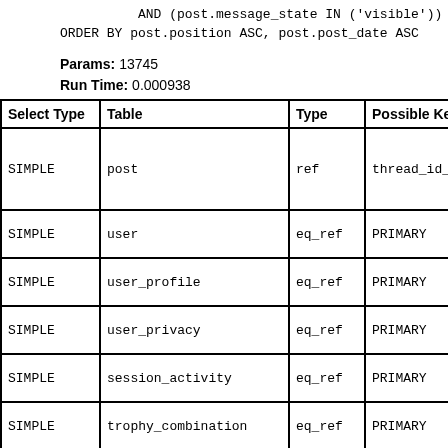AND (post.message_state IN ('visible'))
ORDER BY post.position ASC, post.post_date ASC
Params: 13745
Run Time: 0.000938
| Select Type | Table | Type | Possible Keys |
| --- | --- | --- | --- |
| SIMPLE | post | ref | thread_id_post_date,thr |
| SIMPLE | user | eq_ref | PRIMARY |
| SIMPLE | user_profile | eq_ref | PRIMARY |
| SIMPLE | user_privacy | eq_ref | PRIMARY |
| SIMPLE | session_activity | eq_ref | PRIMARY |
| SIMPLE | trophy_combination | eq_ref | PRIMARY |
6. INSERT DELAYED INTO xf_thread_view
             (thread_id)
   VALUES
             (?)